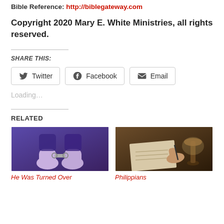Bible Reference: http://biblegateway.com
Copyright 2020 Mary E. White Ministries, all rights reserved.
SHARE THIS:
Twitter  Facebook  Email
Loading...
RELATED
[Figure (photo): Hands in handcuffs, lit with purple/blue light]
He Was Turned Over
[Figure (photo): Person writing at a desk with candle lamp, warm tones]
Philippians